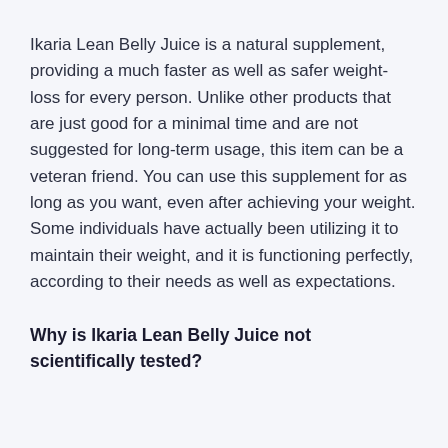Ikaria Lean Belly Juice is a natural supplement, providing a much faster as well as safer weight-loss for every person. Unlike other products that are just good for a minimal time and are not suggested for long-term usage, this item can be a veteran friend. You can use this supplement for as long as you want, even after achieving your weight. Some individuals have actually been utilizing it to maintain their weight, and it is functioning perfectly, according to their needs as well as expectations.
Why is Ikaria Lean Belly Juice not scientifically tested?